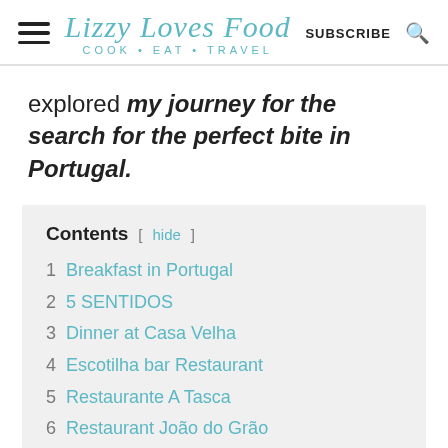Lizzy Loves Food — COOK • EAT • TRAVEL
explored my journey for the search for the perfect bite in Portugal.
Contents [ hide ]
1 Breakfast in Portugal
2 5 SENTIDOS
3 Dinner at Casa Velha
4 Escotilha bar Restaurant
5 Restaurante A Tasca
6 Restaurant João do Grão
7 Restaurante Mhh...onde Estás (partially visible)